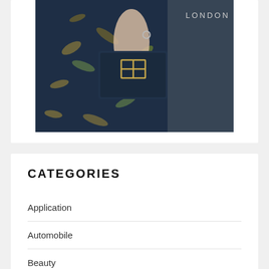[Figure (photo): A woman in a navy blue floral dress holding a navy clutch bag with a gold clasp. The word LONDON appears in the upper right on a dark background.]
CATEGORIES
Application
Automobile
Beauty